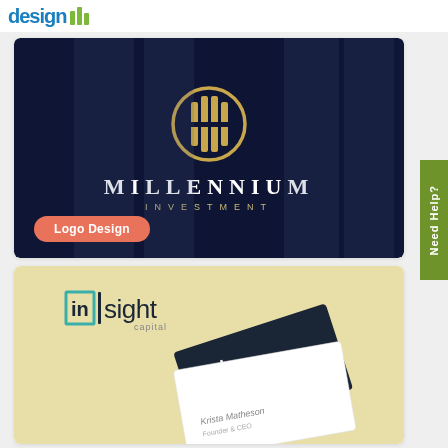[Figure (logo): DesignHill logo in top-left header bar, blue and green colors]
[Figure (logo): Millennium Investment logo design - dark navy background with gold circular bar chart icon and white serif text reading MILLENNIUM INVESTMENT, with coral/salmon Logo Design button]
[Figure (logo): Insight Capital logo and business card mockup on tan/cream background - shows insight capital branding with teal bracket square icon]
Need Help?